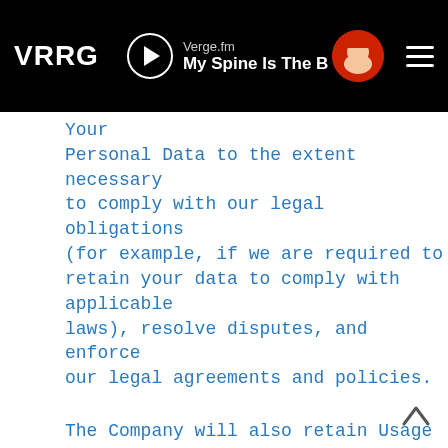VRRG | Verge.fm My Spine Is The B | [avatar] [menu]
Your Personal Data to the extent necessary to comply with our legal obligations (for example, if we are required to retain your data to comply with applicable laws), resolve disputes, and enforce our legal agreements and policies.
The Company will also retain Usage Data for internal analysis purposes. Usage Data is generally retained for a shorter period of time, except when